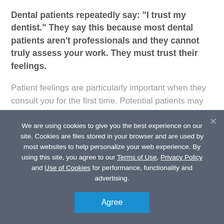Dental patients repeatedly say: "I trust my dentist." They say this because most dental patients aren't professionals and they cannot truly assess your work. They must trust their feelings.
Patient feelings are particularly important when they consult you for the first time. Potential patients may initially rely on recommendations from friends and family, but it is the impression you make that earns their trust.
We are using cookies to give you the best experience on our site. Cookies are files stored in your browser and are used by most websites to help personalize your web experience. By using this site, you agree to our Terms of Use, Privacy Policy and Use of Cookies for performance, functionality and advertising.